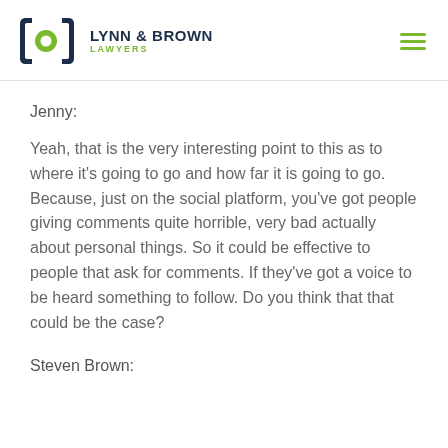Lynn & Brown Lawyers
Jenny:
Yeah, that is the very interesting point to this as to where it’s going to go and how far it is going to go. Because, just on the social platform, you’ve got people giving comments quite horrible, very bad actually about personal things. So it could be effective to people that ask for comments. If they’ve got a voice to be heard something to follow. Do you think that that could be the case?
Steven Brown: